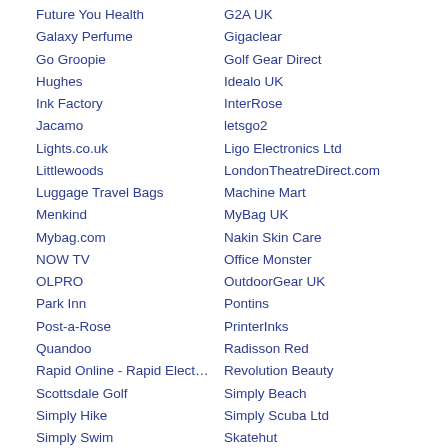Future You Health
Galaxy Perfume
Go Groopie
Hughes
Ink Factory
Jacamo
Lights.co.uk
Littlewoods
Luggage Travel Bags
Menkind
Mybag.com
NOW TV
OLPRO
Park Inn
Post-a-Rose
Quandoo
Rapid Online - Rapid Elect…
Scottsdale Golf
Simply Hike
Simply Swim
Sky
G2A UK
Gigaclear
Golf Gear Direct
Idealo UK
InterRose
letsgo2
Ligo Electronics Ltd
LondonTheatreDirect.com
Machine Mart
MyBag UK
Nakin Skin Care
Office Monster
OutdoorGear UK
Pontins
PrinterInks
Radisson Red
Revolution Beauty
Simply Beach
Simply Scuba Ltd
Skatehut
SpaBreaks.com